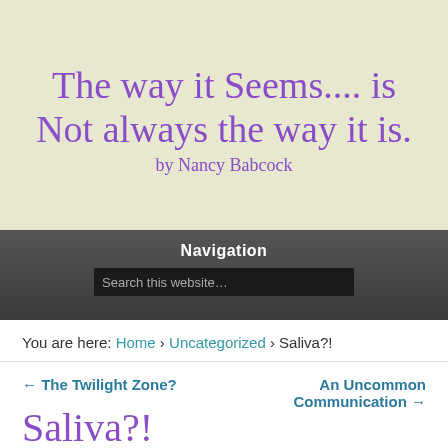The way it Seems.... is Not always the way it is.
by Nancy Babcock
Navigation
Search this website…
You are here: Home › Uncategorized › Saliva?!
← The Twilight Zone?
An Uncommon Communication →
Saliva?!